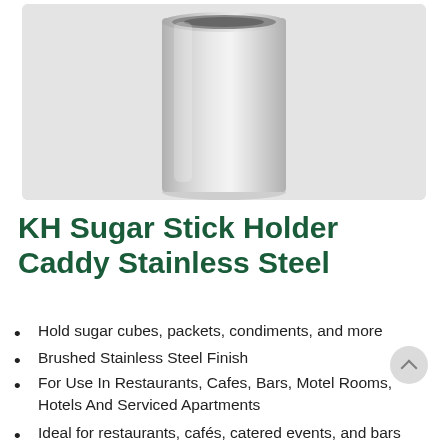[Figure (photo): A stainless steel cylindrical sugar stick holder caddy photographed on a light grey background. The container is tall and cylindrical with a brushed silver metallic finish.]
KH Sugar Stick Holder Caddy Stainless Steel
Hold sugar cubes, packets, condiments, and more
Brushed Stainless Steel Finish
For Use In Restaurants, Cafes, Bars, Motel Rooms, Hotels And Serviced Apartments
Ideal for restaurants, cafés, catered events, and bars